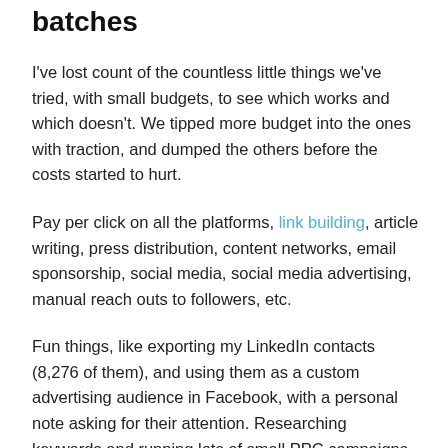batches
I've lost count of the countless little things we've tried, with small budgets, to see which works and which doesn't. We tipped more budget into the ones with traction, and dumped the others before the costs started to hurt.
Pay per click on all the platforms, link building, article writing, press distribution, content networks, email sponsorship, social media, social media advertising, manual reach outs to followers, etc.
Fun things, like exporting my LinkedIn contacts (8,276 of them), and using them as a custom advertising audience in Facebook, with a personal note asking for their attention. Researching keywords and running lots of small PPC campaigns on them. Testing button colours out to